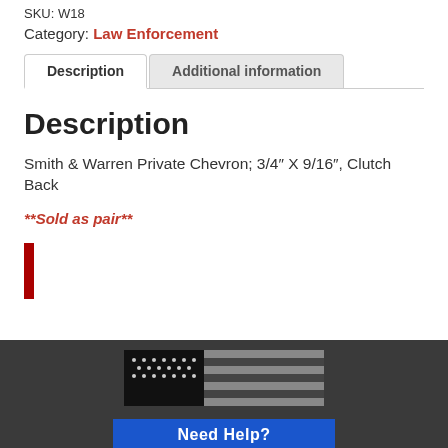SKU: W18
Category: Law Enforcement
Description
Description
Smith & Warren Private Chevron; 3/4″ X 9/16″, Clutch Back
**Sold as pair**
[Figure (other): Red vertical bar element]
[Figure (photo): Dark footer area with a black and white American flag image and a blue 'Need Help?' bar at the bottom]